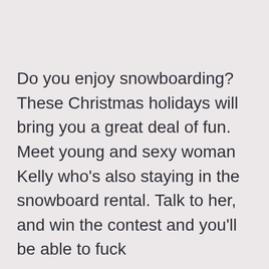Do you enjoy snowboarding? These Christmas holidays will bring you a great deal of fun. Meet young and sexy woman Kelly who's also staying in the snowboard rental. Talk to her, and win the contest and you'll be able to fuck